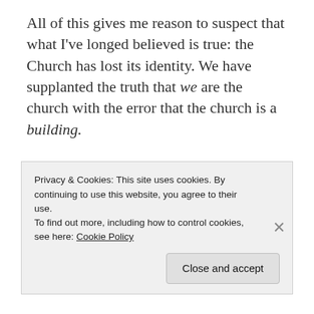All of this gives me reason to suspect that what I've longed believed is true: the Church has lost its identity. We have supplanted the truth that we are the church with the error that the church is a building.
[Figure (infographic): Advertisement banner reading 'Build a better web and a better world.' with a blue Apply button and a circular avatar photo of a man thinking.]
Privacy & Cookies: This site uses cookies. By continuing to use this website, you agree to their use.
To find out more, including how to control cookies, see here: Cookie Policy
Close and accept